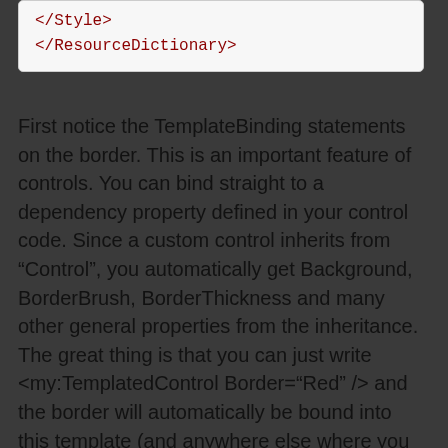[Figure (screenshot): Code snippet showing XML closing tags: </Style> and </ResourceDictionary> in dark red monospace font on a light background box]
First notice the TemplateBinding statements on the border. This is an important feature of controls. You can bind straight to a dependency property defined in your control code. Since a custom control inherits from “Control”, you automatically get Background, BorderBrush, BorderThickness and many other general properties from the inheritance. The great thing is that you can just write <my:TemplatedControl Border=“Red” /> and the border will automatically be bound into this template (and anywhere else where you have a TemplateBinding to that property). This beats UserControl, where to accomplish this in Silverlight you will have resolve to a hack by setting the DataContext of the control to itself